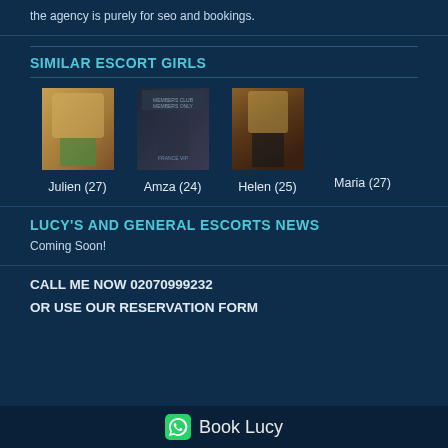the agency is purely for seo and bookings.
SIMILAR ESCORT GIRLS
[Figure (photo): Photo of Julien escort, age 27, blonde in green bikini]
Julien (27)
[Figure (photo): Photo of Amza escort, age 24, dark promotional image]
Amza (24)
[Figure (photo): Photo of Helen escort, age 25, blonde in black outfit]
Helen (25)
Maria (27)
LUCY'S AND GENERAL ESCORTS NEWS
Coming Soon!
CALL ME NOW 02070999232
OR USE OUR RESERVATION FORM
Book Lucy